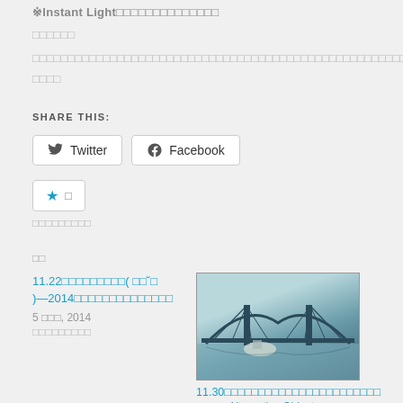※Instant Light□□□□□□□□□□□□□□
□□□□□□
□□□□□□□□□□□□□□□□□□□□□□□□□□□□□□□□□□□□□□□□□□□□□□□□□□□□□□□□□□□□□□□□□□□□□□□□□□□□□□□□
□□□□
SHARE THIS:
Twitter
Facebook
★ □
□□□□□□□□□
□□
11.22□□□□□□□□□( □□˘□)—2014□□□□□□□□□□□□□□
5 □□□, 2014
□□□□□□□□□
[Figure (photo): Photograph of a bridge (resembling Sydney Harbour Bridge) over water with a boat in the foreground, in muted blue-grey tones]
11.30□□□□□□□□□□□□□□□□□□□□□□□□□□□□□Alternative Object